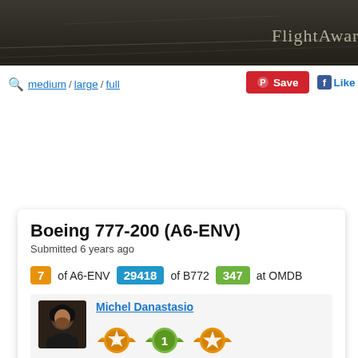[Figure (photo): FlightAware header image — dark cockpit/runway aerial view with 'FlightAware' logo text in top-right]
🔍 medium / large / full
[Figure (other): Pinterest Save button (red) and Facebook Like button (blue)]
Boeing 777-200 (A6-ENV)
Submitted 6 years ago
7 of A6-ENV   29418 of B772   347 at OMDB
Michel Danastasio
[Figure (other): Three award medals/badges for Michel Danastasio — a star-5 orange medal, a green level-1 medal, and an orange star medal]